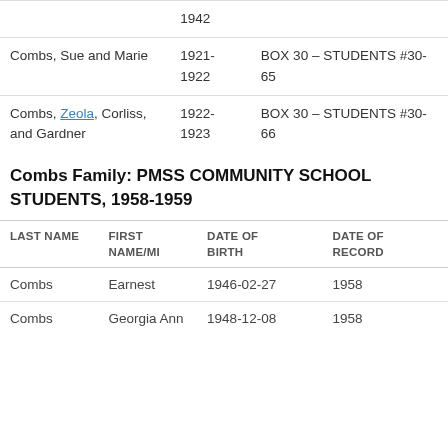| Name | Year | Box/Location |
| --- | --- | --- |
|  | 1942 |  |
| Combs, Sue and Marie | 1921-1922 | BOX 30 – STUDENTS #30-65 |
| Combs, Zeola, Corliss, and Gardner | 1922-1923 | BOX 30 – STUDENTS #30-66 |
Combs Family: PMSS COMMUNITY SCHOOL STUDENTS, 1958-1959
| LAST NAME | FIRST NAME/MI | DATE OF BIRTH | DATE OF RECORD |
| --- | --- | --- | --- |
| Combs | Earnest | 1946-02-27 | 1958 |
| Combs | Georgia Ann | 1948-12-08 | 1958 |